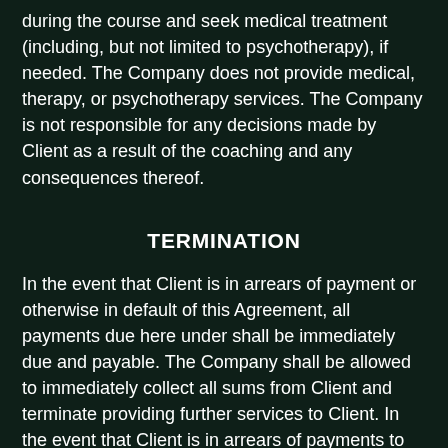during the course and seek medical treatment (including, but not limited to psychotherapy), if needed. The Company does not provide medical, therapy, or psychotherapy services. The Company is not responsible for any decisions made by Client as a result of the coaching and any consequences thereof.
TERMINATION
In the event that Client is in arrears of payment or otherwise in default of this Agreement, all payments due here under shall be immediately due and payable. The Company shall be allowed to immediately collect all sums from Client and terminate providing further services to Client. In the event that Client is in arrears of payments to the Company, Client shall be barred from using any of the Company's services.